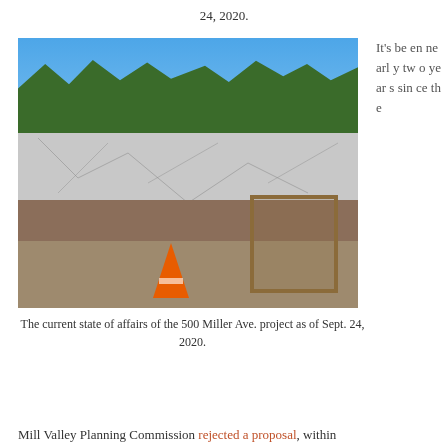24, 2020.
[Figure (photo): Construction site photo showing the 500 Miller Ave. project with a large concrete retaining wall with crack patterns, wooden framing structures, an orange traffic cone, and construction debris in the foreground. Blue sky and trees visible above the wall. Photo taken September 24, 2020.]
The current state of affairs of the 500 Miller Ave. project as of Sept. 24, 2020.
It's been nearly two years since the
Mill Valley Planning Commission rejected a proposal, within